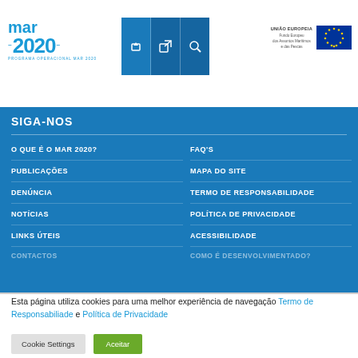Área reservada
[Figure (logo): MAR 2020 - Programa Operacional Mar 2020 logo with wave design and EU fund logos]
SIGA-NOS
O QUE É O MAR 2020?
FAQ'S
PUBLICAÇÕES
MAPA DO SITE
DENÚNCIA
TERMO DE RESPONSABILIDADE
NOTÍCIAS
POLÍTICA DE PRIVACIDADE
LINKS ÚTEIS
ACESSIBILIDADE
Esta página utiliza cookies para uma melhor experiência de navegação Termo de Responsabiliade e Política de Privacidade
Cookie Settings  Aceitar